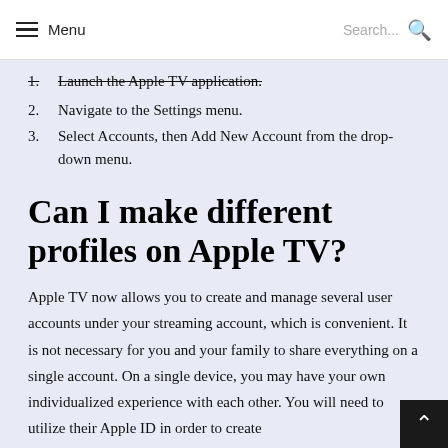Menu  Search...
1. Launch the Apple TV application.
2. Navigate to the Settings menu.
3. Select Accounts, then Add New Account from the drop-down menu.
Can I make different profiles on Apple TV?
Apple TV now allows you to create and manage several user accounts under your streaming account, which is convenient. It is not necessary for you and your family to share everything on a single account. On a single device, you may have your own individualized experience with each other. You will need to utilize their Apple ID in order to create